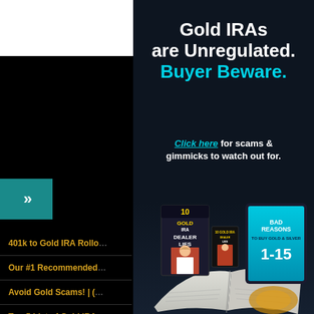Gold IRAs are Unregulated. Buyer Beware.
Click here for scams & gimmicks to watch out for.
401k to Gold IRA Rollo...
Our #1 Recommended...
Avoid Gold Scams! | (...
Top-5 List of Gold IRA...
[Figure (photo): Book covers and publications including '10 Gold IRA Dealer Lies' and 'Bad Reasons to Buy Gold & Silver 1-15', shown with an open book in the foreground]